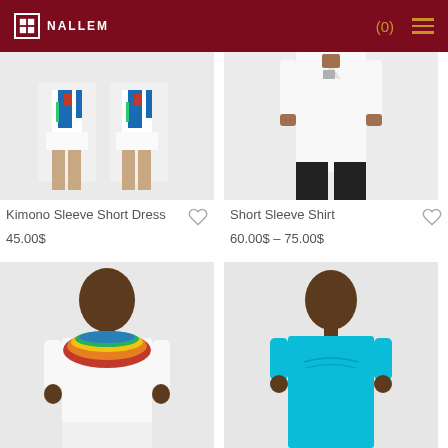nALLEM — (0) ☰
[Figure (photo): Product photo of Kimono Sleeve Short Dress — two figures wearing white short dress with colorful African print vest/overlay, light gray background]
Kimono Sleeve Short Dress
45.00$
[Figure (photo): Product photo of Short Sleeve Shirt — male figure wearing white short-sleeve shirt with small chest detail, black pants, gray background]
Short Sleeve Shirt
60.00$ – 75.00$
[Figure (photo): Product photo of a young boy wearing a white shirt with colorful African dashiki-style yoke pattern in red, yellow, green, on gray background]
[Figure (photo): Product photo of a young boy wearing a bright blue t-shirt with logo/design, on light gray background]